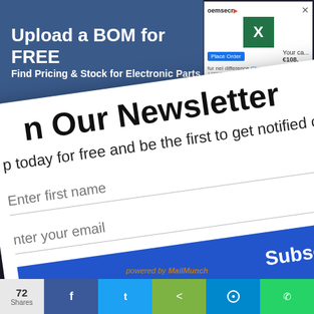[Figure (screenshot): Advertisement banner: 'Upload a BOM for FREE - Find Pricing & Stock for Electronic Parts' with oemsecrets logo and Excel icon mini card showing Place Order €108]
[Figure (screenshot): Newsletter signup modal popup rotated slightly, with title 'n Our Newsletter', text 'p today for free and be the first to get notified on new updates.', Enter first name field, Enter your email field, and Subscribe button]
[Figure (screenshot): Dark code editor background showing HTML code lines 69-73 with orange and yellow syntax highlighting]
[Figure (screenshot): Social share bar at bottom with 72 Shares count, Facebook, Twitter, Share, Messenger, WhatsApp buttons. 'powered by MailMunch' badge.]